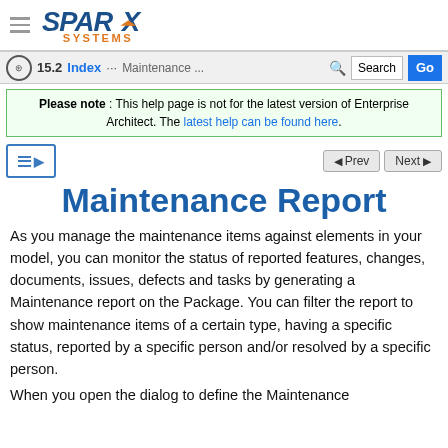Sparx Systems — 15.2 / Index / Maintenance ...
Please note : This help page is not for the latest version of Enterprise Architect. The latest help can be found here.
Maintenance Report
As you manage the maintenance items against elements in your model, you can monitor the status of reported features, changes, documents, issues, defects and tasks by generating a Maintenance report on the Package. You can filter the report to show maintenance items of a certain type, having a specific status, reported by a specific person and/or resolved by a specific person.
When you open the dialog to define the Maintenance